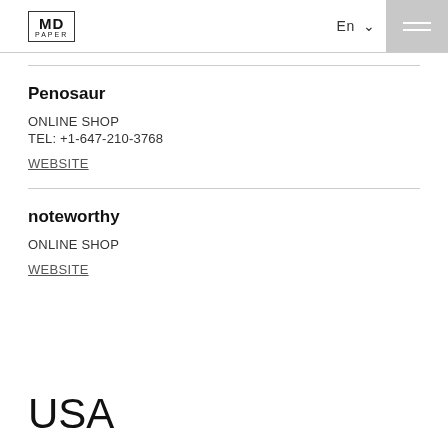MD PAPER | En | Menu
Penosaur
ONLINE SHOP
TEL: +1-647-210-3768
WEBSITE
noteworthy
ONLINE SHOP
WEBSITE
USA